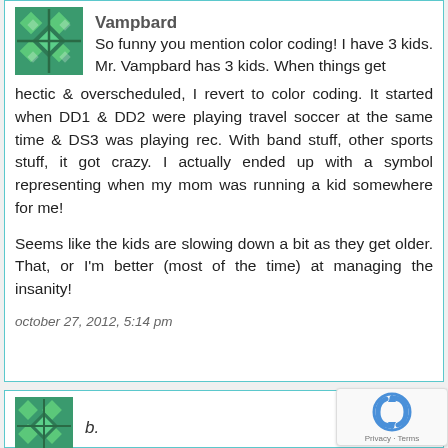[Figure (illustration): Green decorative avatar icon with diamond/cross pattern]
Vampbard
So funny you mention color coding! I have 3 kids. Mr. Vampbard has 3 kids. When things get hectic & overscheduled, I revert to color coding. It started when DD1 & DD2 were playing travel soccer at the same time & DS3 was playing rec. With band stuff, other sports stuff, it got crazy. I actually ended up with a symbol representing when my mom was running a kid somewhere for me!

Seems like the kids are slowing down a bit as they get older. That, or I'm better (most of the time) at managing the insanity!
october 27, 2012, 5:14 pm
[Figure (illustration): Green decorative avatar icon with diamond/cross pattern (second comment)]
b.